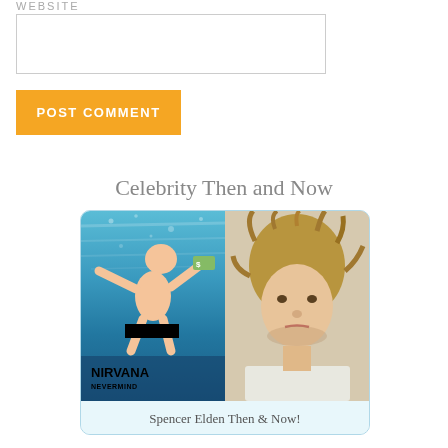WEBSITE
[Figure (other): Website input text field (empty)]
POST COMMENT
Celebrity Then and Now
[Figure (photo): Side-by-side comparison photo: left side shows Nirvana Nevermind album cover with baby underwater reaching for dollar bill (censored), right side shows Spencer Elden as an adult with dreadlocks. Caption: Spencer Elden Then & Now!]
Spencer Elden Then & Now!